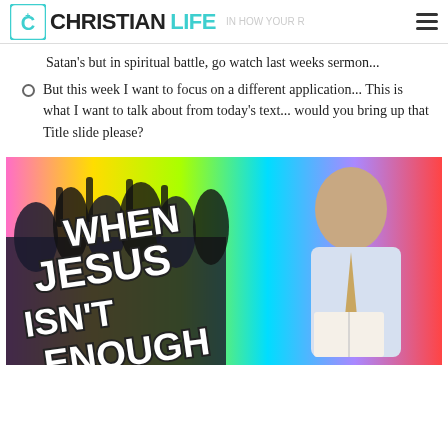CHRISTIAN LIFE
Satan's but in spiritual battle, go watch last weeks sermon...
But this week I want to focus on a different application... This is what I want to talk about from today's text... would you bring up that Title slide please?
[Figure (photo): Sermon title slide image with rainbow gradient background, silhouette of crowd with raised hands on left, bearded man in white shirt and tie holding a book on right, large bold white text reading 'WHEN JESUS ISN'T ENOUGH']